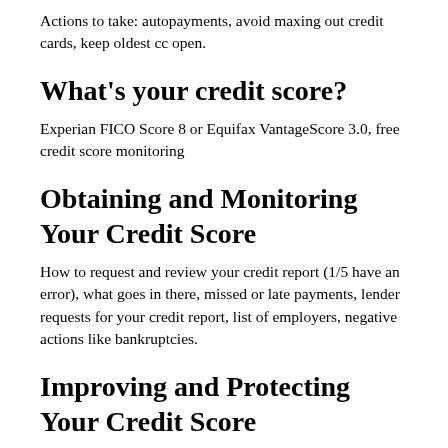Actions to take: autopayments, avoid maxing out credit cards, keep oldest cc open.
What's your credit score?
Experian FICO Score 8 or Equifax VantageScore 3.0, free credit score monitoring
Obtaining and Monitoring Your Credit Score
How to request and review your credit report (1/5 have an error), what goes in there, missed or late payments, lender requests for your credit report, list of employers, negative actions like bankruptcies.
Improving and Protecting Your Credit Score